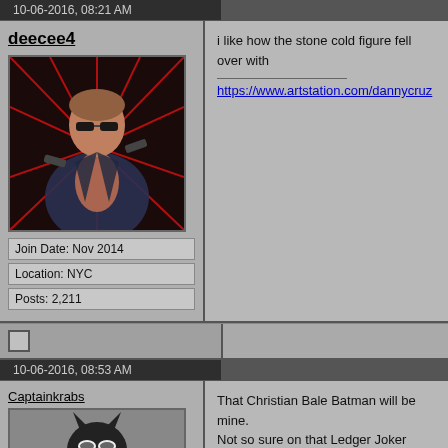10-06-2016, 08:21 AM
deecee4
[Figure (photo): Avatar image of a person in a leather jacket holding guns against a red laser background]
Join Date: Nov 2014
Location: NYC
Posts: 2,211
i like how the stone cold figure fell over with
https://www.artstation.com/dannycruz
10-06-2016, 08:53 AM
Captainkrabs
[Figure (photo): Avatar image of Batman costume figure]
That Christian Bale Batman will be mine.
Not so sure on that Ledger Joker though. w

Still no sign of the Movie Realization Jango